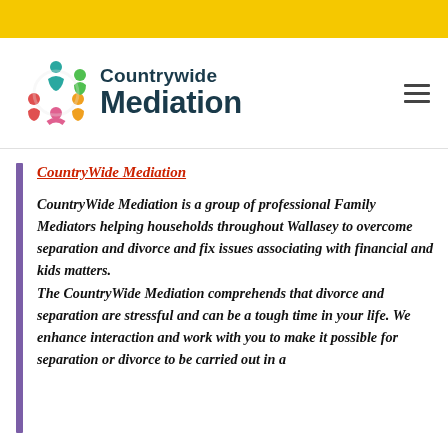[Figure (logo): Countrywide Mediation logo with colorful circular people figures and bold dark teal text reading 'Countrywide Mediation']
CountryWide Mediation
CountryWide Mediation is a group of professional Family Mediators helping households throughout Wallasey to overcome separation and divorce and fix issues associating with financial and kids matters. The CountryWide Mediation comprehends that divorce and separation are stressful and can be a tough time in your life. We enhance interaction and work with you to make it possible for separation or divorce to be carried out in a